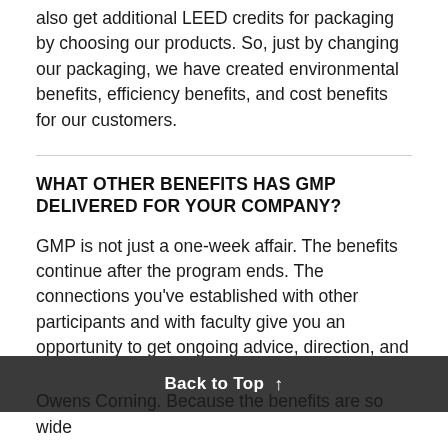also get additional LEED credits for packaging by choosing our products. So, just by changing our packaging, we have created environmental benefits, efficiency benefits, and cost benefits for our customers.
WHAT OTHER BENEFITS HAS GMP DELIVERED FOR YOUR COMPANY?
GMP is not just a one-week affair. The benefits continue after the program ends. The connections you've established with other participants and with faculty give you an opportunity to get ongoing advice, direction, and coaching.
Back to Top ↑
Owens Corning. Because the benefits are so wide